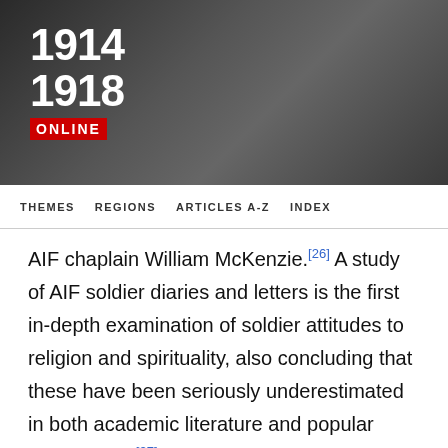[Figure (logo): 1914-1918 Online website header logo with dark background showing '1914' and '1918' in large white bold text and 'ONLINE' in white text on red background]
THEMES   REGIONS   ARTICLES A-Z   INDEX
AIF chaplain William McKenzie.[26] A study of AIF soldier diaries and letters is the first in-depth examination of soldier attitudes to religion and spirituality, also concluding that these have been seriously underestimated in both academic literature and popular imagination.[27]
Debate over the origins of Anzac Day has seen some historians proposing largely secular origins while others have